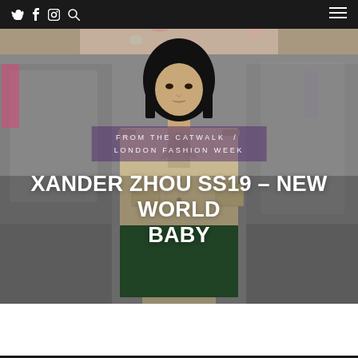Twitter Facebook Instagram Search | Menu
[Figure (photo): Fashion photo hero image: a model with a black bob haircut wearing a two-tone jacket (beige/khaki upper half, dark green lower half) on a catwalk with urban grey background. A partially visible pink floral outfit is seen at the very top.]
FROM THE CATWALK / LONDON FASHION WEEK
XANDER ZHOU SS19 – NEW WORLD BABY